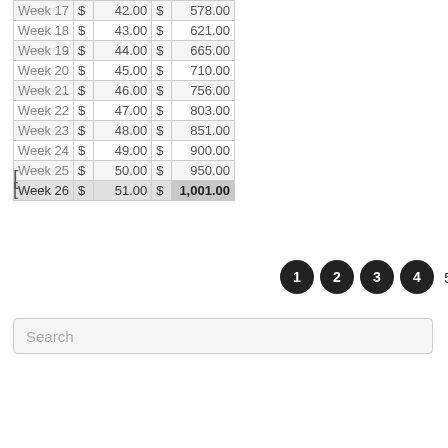| Week 17 | $ | 42.00 | $ | 578.00 |
| Week 18 | $ | 43.00 | $ | 621.00 |
| Week 19 | $ | 44.00 | $ | 665.00 |
| Week 20 | $ | 45.00 | $ | 710.00 |
| Week 21 | $ | 46.00 | $ | 756.00 |
| Week 22 | $ | 47.00 | $ | 803.00 |
| Week 23 | $ | 48.00 | $ | 851.00 |
| Week 24 | $ | 49.00 | $ | 900.00 |
| Week 25 | $ | 50.00 | $ | 950.00 |
| Week 26 | $ | 51.00 | $ | 1,001.00 |
[Figure (other): Pagination control with 4 filled black circles numbered 1-4 and a plain text '5']
Search